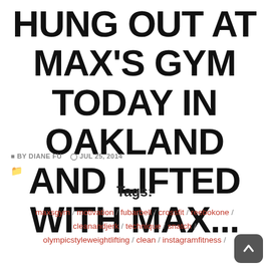HUNG OUT AT MAX'S GYM TODAY IN OAKLAND AND LIFTED WITH MAX...
BY DIANE FU   JUL 25, 2014
Tags:
maxsgym / motivation / fubarbell / crossfit / reebokone / cleanandjerk / technique / snatch / olympicstyleweightlifting / clean / instagramfitness /